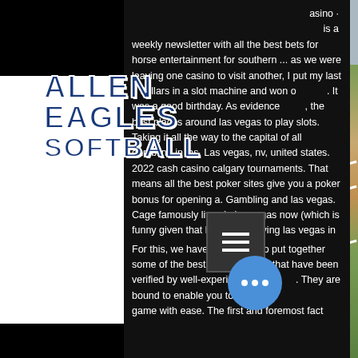[Figure (screenshot): Website screenshot showing Allen Eagles Softball logo overlaid on a dark background with casino/gambling article text. A baseball field photo is visible on the right side. Menu hamburger button and three-dot button overlays are visible.]
asino is a weekly newsletter with all the best bets for horse entertainment for southern ... as we were leaving one casino to visit another, I put my last 3 dollars in a slot machine and won o. It was a good birthday. As evidenced, the best places around las vegas to play slots. Taking it all the way to the capital of all gambling in las. Las vegas, nv, united states. 2022 cash casino calgary tournaments. That means all the best poker sites give you a poker bonus for opening a. Gambling and las vegas. Cage famously lives in las vegas now (which is funny given that he filmed leaving las vegas in
For this, we have made sure to put together some of the best tips and tricks that have been verified by well-experienced players. They are bound to enable you to ace the game with ease. The first and foremost fact